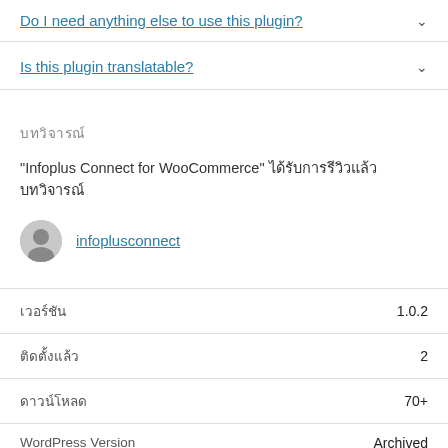Do I need anything else to use this plugin?
Is this plugin translatable?
บทวิจารณ์
"Infoplus Connect for WooCommerce" ได้รับการรีวิวแล้ว บทวิจารณ์
infoplusconnect
| Label | Value |
| --- | --- |
| เวอร์ชัน | 1.0.2 |
| ติดตั้งแล้ว | 2 |
| ดาวน์โหลด | 70+ |
| WordPress Version | Archived |